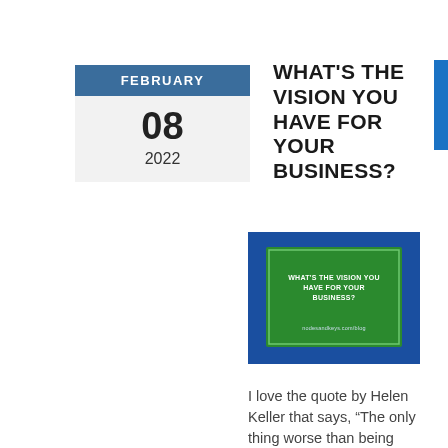| FEBRUARY |
| 08 |
| 2022 |
WHAT'S THE VISION YOU HAVE FOR YOUR BUSINESS?
[Figure (illustration): Blog post featured image on blue background with green inner rectangle containing the text 'WHAT'S THE VISION YOU HAVE FOR YOUR BUSINESS?' and 'nodesandkeys.com/blog' at the bottom]
I love the quote by Helen Keller that says, “The only thing worse than being blind is having sight but no vision.”